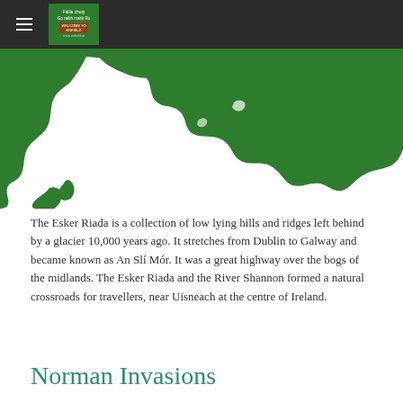Fáilte chuig / Welcome to Enfield — www.enfield.ie
[Figure (map): Green silhouette map shape of an Irish county or region, shown cropped at the top of the page on a white background]
The Esker Riada is a collection of low lying hills and ridges left behind by a glacier 10,000 years ago. It stretches from Dublin to Galway and became known as An Slí Mór. It was a great highway over the bogs of the midlands. The Esker Riada and the River Shannon formed a natural crossroads for travellers, near Uisneach at the centre of Ireland.
Norman Invasions